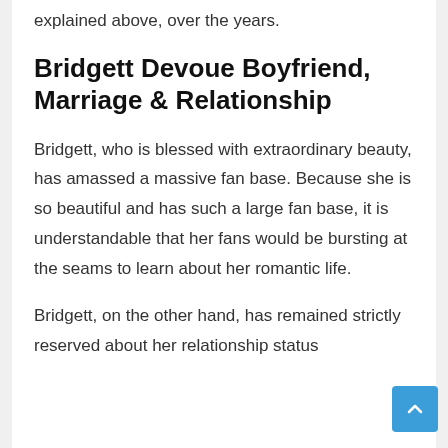explained above, over the years.
Bridgett Devoue Boyfriend, Marriage & Relationship
Bridgett, who is blessed with extraordinary beauty, has amassed a massive fan base. Because she is so beautiful and has such a large fan base, it is understandable that her fans would be bursting at the seams to learn about her romantic life.
Bridgett, on the other hand, has remained strictly reserved about her relationship status